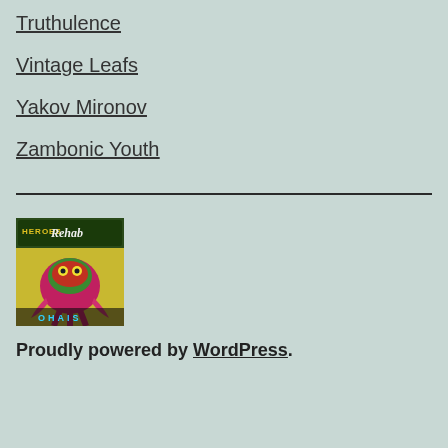Truthulence
Vintage Leafs
Yakov Mironov
Zambonic Youth
[Figure (illustration): Album cover for Heroes in Rehab by OHAIS, featuring colorful comic-book style artwork with an octopus-like creature wearing a mask]
Proudly powered by WordPress.